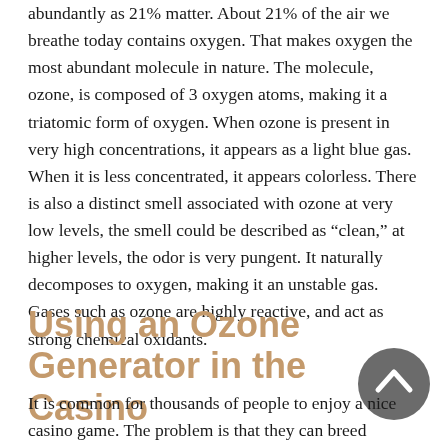abundantly as 21% matter. About 21% of the air we breathe today contains oxygen. That makes oxygen the most abundant molecule in nature. The molecule, ozone, is composed of 3 oxygen atoms, making it a triatomic form of oxygen. When ozone is present in very high concentrations, it appears as a light blue gas. When it is less concentrated, it appears colorless. There is also a distinct smell associated with ozone at very low levels, the smell could be described as “clean,” at higher levels, the odor is very pungent. It naturally decomposes to oxygen, making it an unstable gas. Gases such as ozone are highly reactive, and act as strong chemical oxidants.
Using an Ozone Generator in the Casino
It is common for thousands of people to enjoy a nice casino game. The problem is that they can breed bacteria and other microbes that accumulate in the environment. It is imperative to use some form of device to combat the